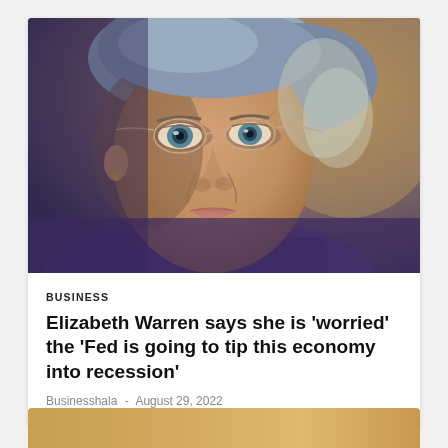[Figure (photo): Close-up photograph of Elizabeth Warren, a woman with silver-blue hair and wire-rimmed glasses, looking to the side with a serious expression, wearing a purple jacket, against a tan/brown background.]
BUSINESS
Elizabeth Warren says she is ‘worried’ the ‘Fed is going to tip this economy into recession’
Businesshala - August 29, 2022